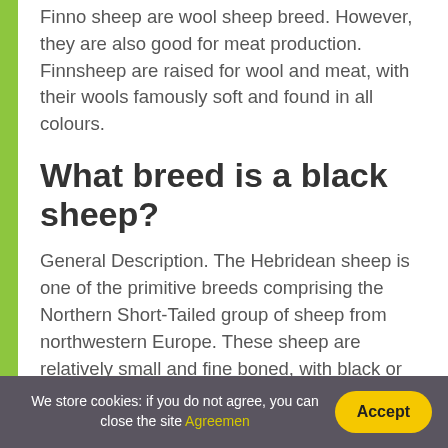Finno sheep are wool sheep breed. However, they are also good for meat production. Finnsheep are raised for wool and meat, with their wools famously soft and found in all colours.
What breed is a black sheep?
General Description. The Hebridean sheep is one of the primitive breeds comprising the Northern Short-Tailed group of sheep from northwestern Europe. These sheep are relatively small and fine boned, with black or dark brown wool. The face and legs are largely free of wool and are covered with glossy black hair.
We store cookies: if you do not agree, you can close the site Agreemen  Accept